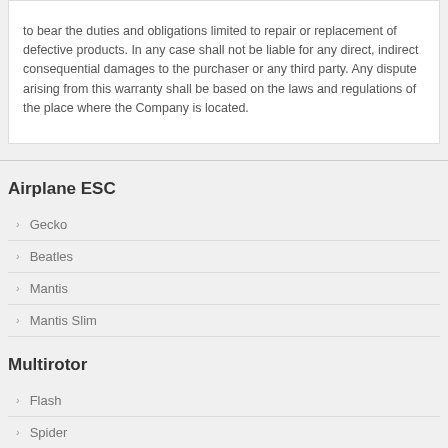to bear the duties and obligations limited to repair or replacement of defective products. In any case shall not be liable for any direct, indirect consequential damages to the purchaser or any third party. Any dispute arising from this warranty shall be based on the laws and regulations of the place where the Company is located.
Airplane ESC
Gecko
Beatles
Mantis
Mantis Slim
Multirotor
Flash
Spider